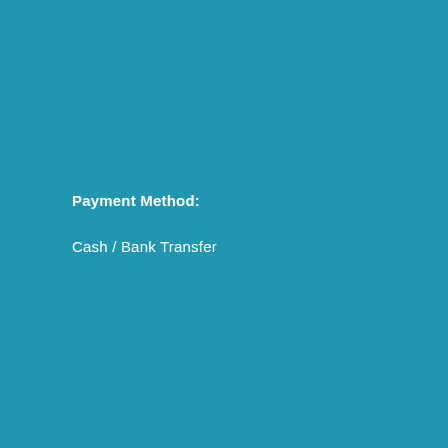Payment Method:
Cash / Bank Transfer